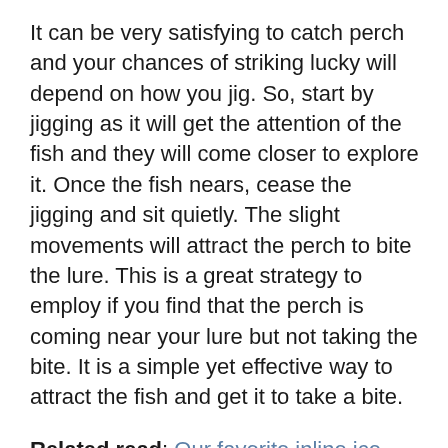It can be very satisfying to catch perch and your chances of striking lucky will depend on how you jig. So, start by jigging as it will get the attention of the fish and they will come closer to explore it. Once the fish nears, cease the jigging and sit quietly. The slight movements will attract the perch to bite the lure. This is a great strategy to employ if you find that the perch is coming near your lure but not taking the bite. It is a simple yet effective way to attract the fish and get it to take a bite.
Related read: Our favorite inline ice fishing reel
The Bottom Line